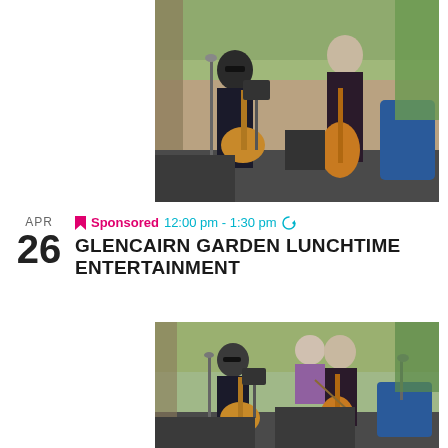[Figure (photo): Two musicians performing outdoors at Glencairn Garden: a man playing acoustic guitar on the left and a woman playing cello on the right, with greenery and brick wall in background]
APR
26 GLENCAIRN GARDEN LUNCHTIME ENTERTAINMENT
Sponsored 12:00 pm - 1:30 pm
[Figure (photo): Same two musicians performing outdoors: man with acoustic guitar and woman with cello, with a person in purple shirt visible in the background]